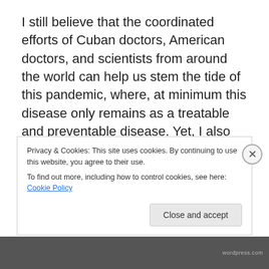I still believe that the coordinated efforts of Cuban doctors, American doctors, and scientists from around the world can help us stem the tide of this pandemic, where, at minimum this disease only remains as a treatable and preventable disease. Yet, I also know that history tells us that any revolution that goes on too long eventually imitates the regime it was trying to replace. We must also
Privacy & Cookies: This site uses cookies. By continuing to use this website, you agree to their use.
To find out more, including how to control cookies, see here: Cookie Policy